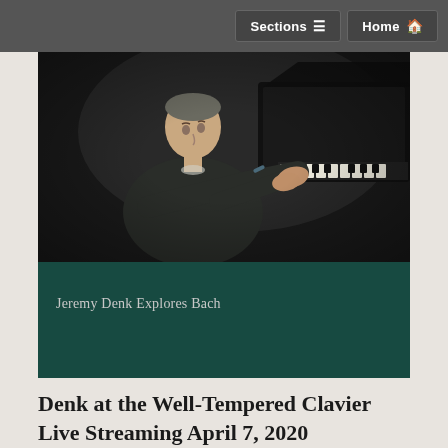Sections  Home
[Figure (photo): Pianist Jeremy Denk seated at a grand piano, playing with focused expression, dark background, black shirt, profile view from slightly above]
Jeremy Denk Explores Bach
Denk at the Well-Tempered Clavier Live Streaming April 7, 2020
The Greene Space has invited Denk to be artist